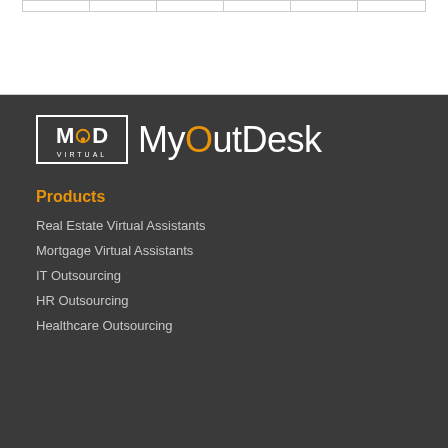[Figure (logo): MyOutDesk logo with MOD Virtual icon and brand name]
Products
Real Estate Virtual Assistants
Mortgage Virtual Assistants
IT Outsourcing
HR Outsourcing
Healthcare Outsourcing